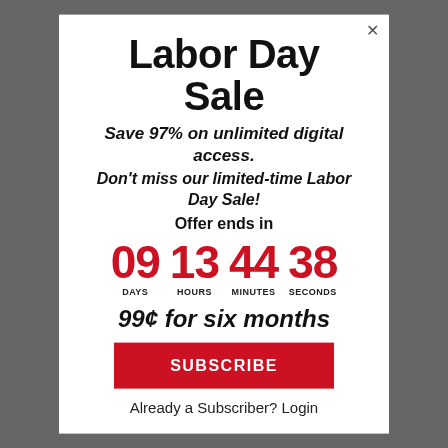Labor Day Sale
Save 97% on unlimited digital access. Don't miss our limited-time Labor Day Sale! Offer ends in
09 DAYS  13 HOURS  44 MINUTES  38 SECONDS
99¢ for six months
SUBSCRIBE
Already a Subscriber? Login